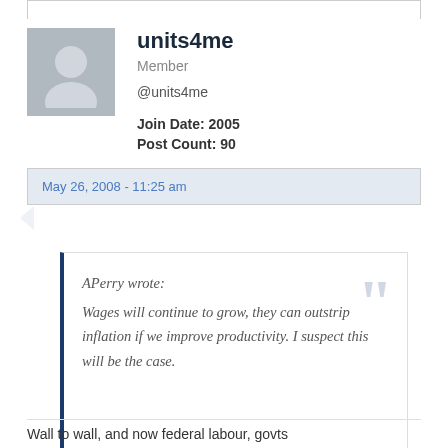[Figure (illustration): User avatar placeholder – grey silhouette of a person on grey background]
units4me
Member
@units4me
Join Date: 2005
Post Count: 90
May 26, 2008 - 11:25 am
APerry wrote:
Wages will continue to grow, they can outstrip inflation if we improve productivity. I suspect this will be the case.
Wall to wall, and now federal labour, govts